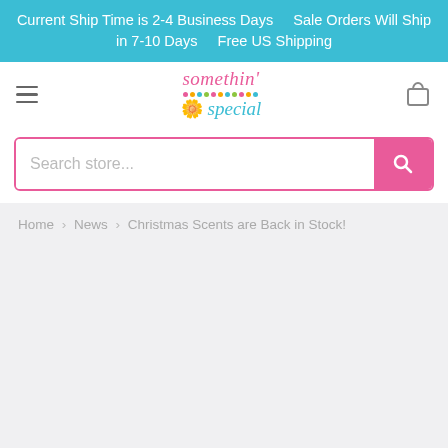Current Ship Time is 2-4 Business Days    Sale Orders Will Ship in 7-10 Days    Free US Shipping
[Figure (logo): Somethin' Special store logo in pink and teal cursive text with colorful dot decoration and yellow sun icon]
Search store...
Home › News › Christmas Scents are Back in Stock!